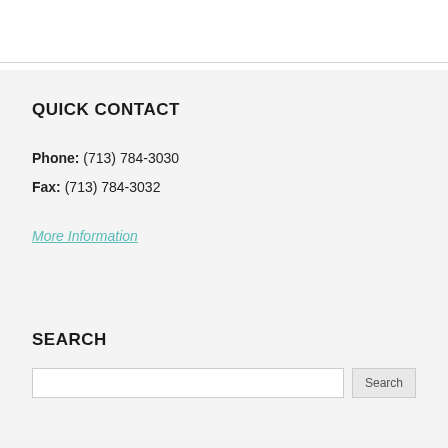QUICK CONTACT
Phone: (713) 784-3030
Fax: (713) 784-3032
More Information
SEARCH